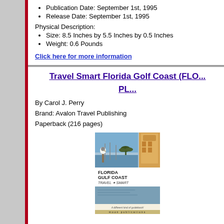Publication Date: September 1st, 1995
Release Date: September 1st, 1995
Physical Description:
Size: 8.5 Inches by 5.5 Inches by 0.5 Inches
Weight: 0.6 Pounds
Click here for more information
Travel Smart Florida Golf Coast (FLO... PLA...
By Carol J. Perry
Brand: Avalon Travel Publishing
Paperback (216 pages)
[Figure (photo): Book cover of Florida Gulf Coast Travel Smart by Carol J. Perry, showing a marina with a pelican on a post, palm trees, and a building tower, published by Moon Publications]